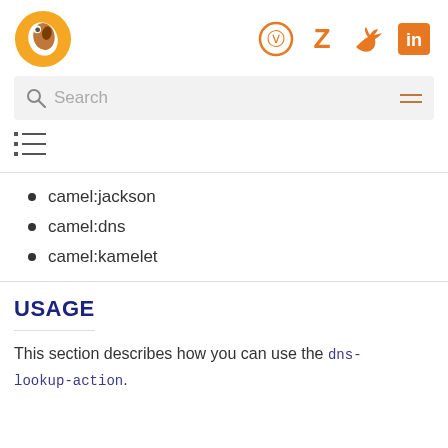Camel logo and social icons header
Search
[Figure (other): TOC/list icon]
camel:jackson
camel:dns
camel:kamelet
USAGE
This section describes how you can use the dns-lookup-action.